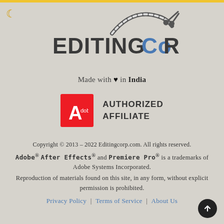[Figure (logo): EditingCorp logo with film strip graphic and stylized text EDITINGCORP in dark grey and blue]
Made with ♥ in India
[Figure (logo): Adobe Authorized Affiliate badge — red Adobe logo box with white A on left, bold text AUTHORIZED AFFILIATE on right]
Copyright © 2013 – 2022 Editingcorp.com. All rights reserved. Adobe® After Effects® and Premiere Pro® is a trademarks of Adobe Systems Incorporated. Reproduction of materials found on this site, in any form, without explicit permission is prohibited.
Privacy Policy | Terms of Service | About Us